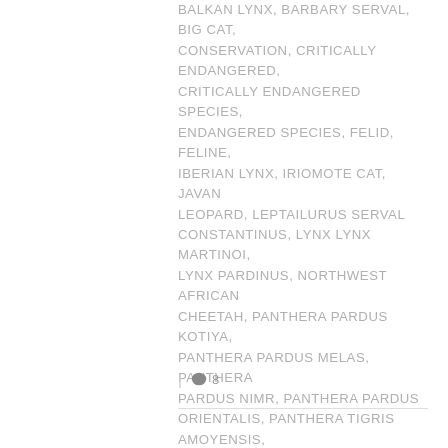BALKAN LYNX, BARBARY SERVAL, BIG CAT, CONSERVATION, CRITICALLY ENDANGERED, CRITICALLY ENDANGERED SPECIES, ENDANGERED SPECIES, FELID, FELINE, IBERIAN LYNX, IRIOMOTE CAT, JAVAN LEOPARD, LEPTAILURUS SERVAL CONSTANTINUS, LYNX LYNX MARTINOI, LYNX PARDINUS, NORTHWEST AFRICAN CHEETAH, PANTHERA PARDUS KOTIYA, PANTHERA PARDUS MELAS, PANTHERA PARDUS NIMR, PANTHERA PARDUS ORIENTALIS, PANTHERA TIGRIS AMOYENSIS, PRIONAILURUS BENGALENSIS IRIOMOTENSIS, SMALL CAT, SOUTH CHINA TIGER, SRI LANKAN LEOPARD, WILD CAT, WILDCAT, WILDLIFE
| 💬 8